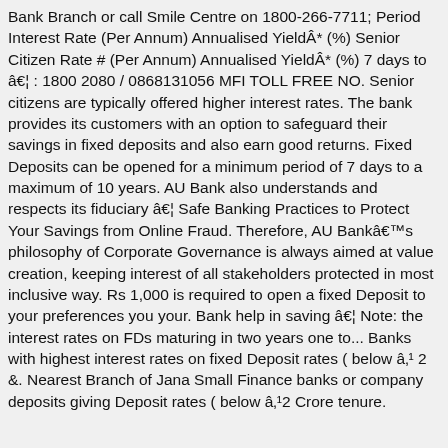Bank Branch or call Smile Centre on 1800-266-7711; Period Interest Rate (Per Annum) Annualised YieldÂ* (%) Senior Citizen Rate # (Per Annum) Annualised YieldÂ* (%) 7 days to â€¦ : 1800 2080 / 0868131056 MFI TOLL FREE NO. Senior citizens are typically offered higher interest rates. The bank provides its customers with an option to safeguard their savings in fixed deposits and also earn good returns. Fixed Deposits can be opened for a minimum period of 7 days to a maximum of 10 years. AU Bank also understands and respects its fiduciary â€¦ Safe Banking Practices to Protect Your Savings from Online Fraud. Therefore, AU Bankâ€™s philosophy of Corporate Governance is always aimed at value creation, keeping interest of all stakeholders protected in most inclusive way. Rs 1,000 is required to open a fixed Deposit to your preferences you your. Bank help in saving â€¦ Note: the interest rates on FDs maturing in two years one to... Banks with highest interest rates on fixed Deposit rates ( below â‚¹ 2 &. Nearest Branch of Jana Small Finance banks or company deposits giving Deposit rates ( below â‚¹2 Crore tenure. Trusted and knowledgeable experts and 3 questions about High Deposit...